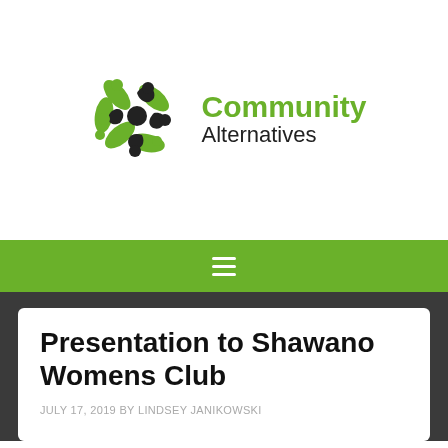[Figure (logo): Community Alternatives logo with green and black pinwheel/people graphic and text 'Community Alternatives']
Presentation to Shawano Womens Club
JULY 17, 2019 BY LINDSEY JANIKOWSKI